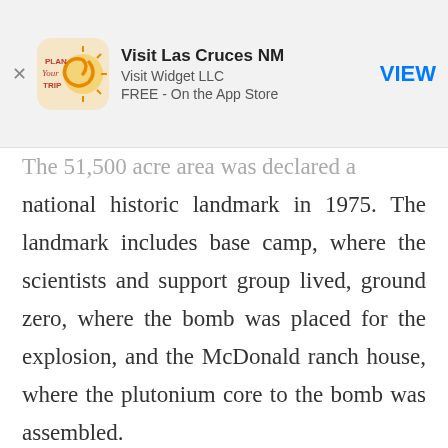[Figure (screenshot): App Store banner for 'Visit Las Cruces NM' by Visit Widget LLC, FREE on the App Store, with a VIEW button]
The 51,500 acre area was declared a national historic landmark in 1975. The landmark includes base camp, where the scientists and support group lived, ground zero, where the bomb was placed for the explosion, and the McDonald ranch house, where the plutonium core to the bomb was assembled. Visitors to a Trinity Site Open House see ground zero and the McDonald ranch house...